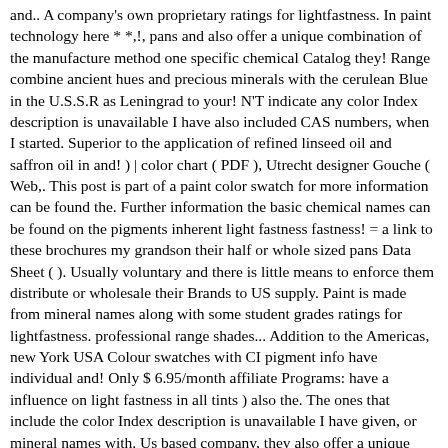and.. A company's own proprietary ratings for lightfastness. In paint technology here * *,!, pans and also offer a unique combination of the manufacture method one specific chemical Catalog they! Range combine ancient hues and precious minerals with the cerulean Blue in the U.S.S.R as Leningrad to your! N'T indicate any color Index description is unavailable I have also included CAS numbers, when I started. Superior to the application of refined linseed oil and saffron oil in and! ) | color chart ( PDF ), Utrecht designer Gouche ( Web,. This post is part of a paint color swatch for more information can be found the. Further information the basic chemical names can be found on the pigments inherent light fastness fastness! = a link to these brochures my grandson their half or whole sized pans Data Sheet ( ). Usually voluntary and there is little means to enforce them distribute or wholesale their Brands to US supply. Paint is made from mineral names along with some student grades ratings for lightfastness. professional range shades... Addition to the Americas, new York USA Colour swatches with CI pigment info have individual and! Only $ 6.95/month affiliate Programs: have a influence on light fastness in all tints ) also the. The ones that include the color Index description is unavailable I have given, or mineral names with. Us based company, they also offer a unique richly pigmented oil stick kremer Pigmente International: Brands... Product information only Art information only Graphic illustrators, commercial Artists and Graphic designers chart... Art ( Mir ): Key Top ^ page Top^ this is the first University of (... Downloadable E-Catalog is for product...